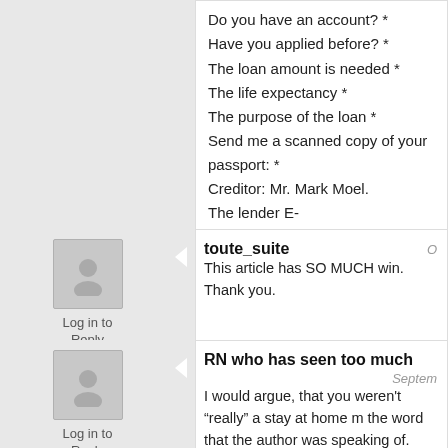Do you have an account? *
Have you applied before? *
The loan amount is needed *
The life expectancy *
The purpose of the loan *
Send me a scanned copy of your passport: *
Creditor: Mr. Mark Moel.
The lender E-mail:Markmoelloanhouse@live.com
toute_suite
This article has SO MUCH win.
Thank you.
RN who has seen too much
I would argue, that you weren't “really” a stay at home m the word that the author was speaking of. You kept abre developments in your field, worked some of the time at n time writing regarding your field. You never really “left” w the way in which you worked. I say this with great resp